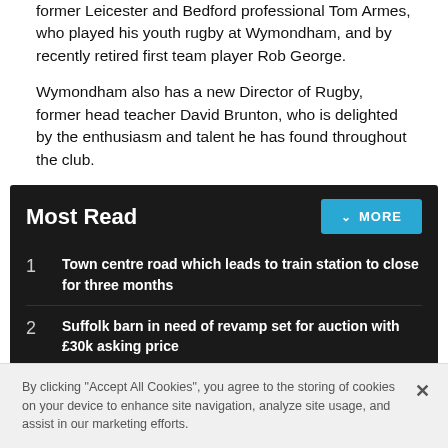former Leicester and Bedford professional Tom Armes, who played his youth rugby at Wymondham, and by recently retired first team player Rob George.
Wymondham also has a new Director of Rugby, former head teacher David Brunton, who is delighted by the enthusiasm and talent he has found throughout the club.
Most Read
1 Town centre road which leads to train station to close for three months
2 Suffolk barn in need of revamp set for auction with £30k asking price
By clicking "Accept All Cookies", you agree to the storing of cookies on your device to enhance site navigation, analyze site usage, and assist in our marketing efforts.